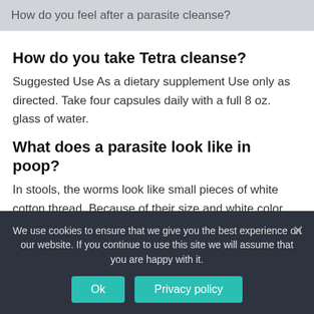How do you feel after a parasite cleanse?
How do you take Tetra cleanse?
Suggested Use As a dietary supplement Use only as directed. Take four capsules daily with a full 8 oz. glass of water.
What does a parasite look like in poop?
In stools, the worms look like small pieces of white cotton thread. Because of their size and white color, pinworms
We use cookies to ensure that we give you the best experience on our website. If you continue to use this site we will assume that you are happy with it.